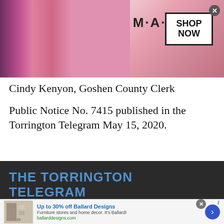[Figure (illustration): MAC Cosmetics advertisement banner with lipsticks and 'SHOP NOW' button]
Cindy Kenyon, Goshen County Clerk
Public Notice No. 7415 published in the Torrington Telegram May 15, 2020.
THE TORRINGTON TELEGRAM
2025 Main St. Torrington WY 82240
307-532-2184
[Figure (illustration): Ballard Designs advertisement: Up to 30% off Ballard Designs. Furniture stores and home decor. It's Ballard! ballarddesigns.com]